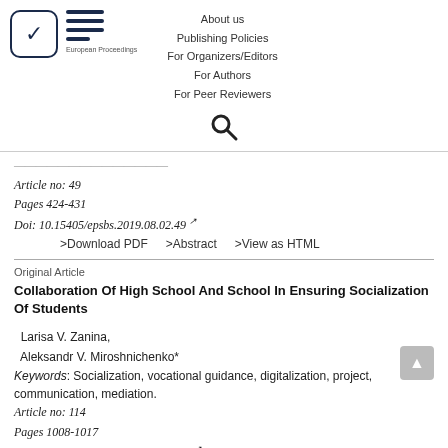[Figure (logo): European Proceedings logo with checkbox and EP icon]
About us
Publishing Policies
For Organizers/Editors
For Authors
For Peer Reviewers
[Figure (other): Search icon (magnifying glass)]
Article no: 49
Pages 424-431
Doi: 10.15405/epsbs.2019.08.02.49
>Download PDF   >Abstract   >View as HTML
Original Article
Collaboration Of High School And School In Ensuring Socialization Of Students
Larisa V. Zanina,
Aleksandr V. Miroshnichenko*
Keywords: Socialization, vocational guidance, digitalization, project, communication, mediation.
Article no: 114
Pages 1008-1017
Doi: 10.15405/epsbs.2019.09.02.114